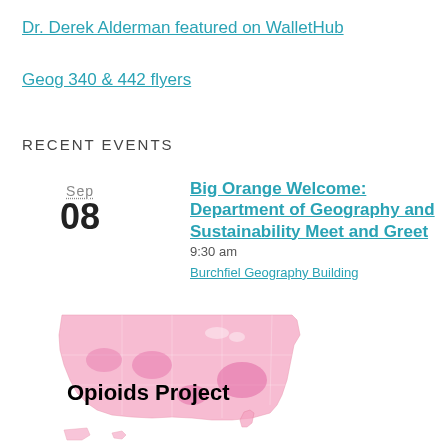Dr. Derek Alderman featured on WalletHub
Geog 340 & 442 flyers
RECENT EVENTS
Sep
08
Big Orange Welcome: Department of Geography and Sustainability Meet and Greet
9:30 am
Burchfiel Geography Building
[Figure (map): Pink choropleth map of the United States showing county-level data related to the Opioids Project, with text 'Opioids Project' overlaid in bold black.]